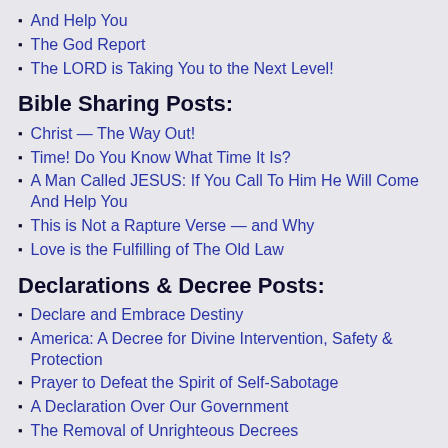And Help You
The God Report
The LORD is Taking You to the Next Level!
Bible Sharing Posts:
Christ — The Way Out!
Time! Do You Know What Time It Is?
A Man Called JESUS: If You Call To Him He Will Come And Help You
This is Not a Rapture Verse — and Why
Love is the Fulfilling of The Old Law
Declarations & Decree Posts:
Declare and Embrace Destiny
America: A Decree for Divine Intervention, Safety & Protection
Prayer to Defeat the Spirit of Self-Sabotage
A Declaration Over Our Government
The Removal of Unrighteous Decrees
HKP Archives: